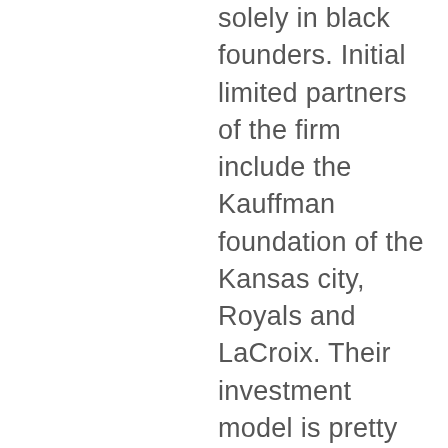solely in black founders. Initial limited partners of the firm include the Kauffman foundation of the Kansas city, Royals and LaCroix. Their investment model is pretty innovative to a profit sharing model. So look forward to following that. The article about collab is in Crunchbase innovation. Doesn’t have a color and again, posted in the show notes. Let’s talk about Fincher in general, newer firms, one I’m familiar with called Kibera venture capital for instance, are following a model from next gen venture partners who put this in place many years ago, and many others have an intentional